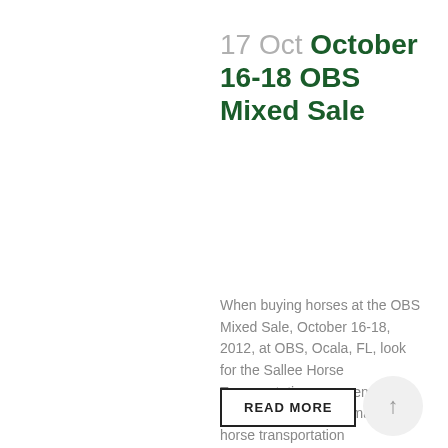17 Oct October 16-18 OBS Mixed Sale
When buying horses at the OBS Mixed Sale, October 16-18, 2012, at OBS, Ocala, FL, look for the Sallee Horse Transportation representatives at the van counter to make your horse transportation arrangements....
READ MORE